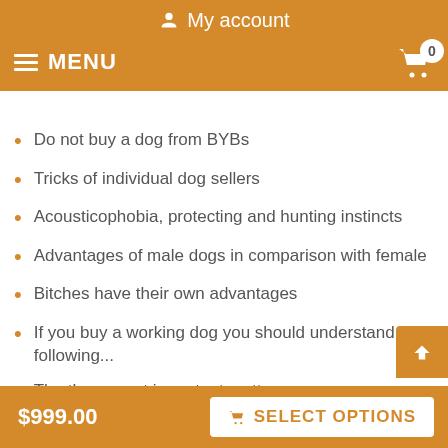My account
MENU  0
Do not buy a dog from BYBs
Tricks of individual dog sellers
Acousticophobia, protecting and hunting instincts
Advantages of male dogs in comparison with female
Bitches have their own advantages
If you buy a working dog you should understand the following...
The three most important matters
Tactics of painless separation of a little puppy with its mother
A ready-made training ground or the other constructed
$999.00  SELECT OPTIONS